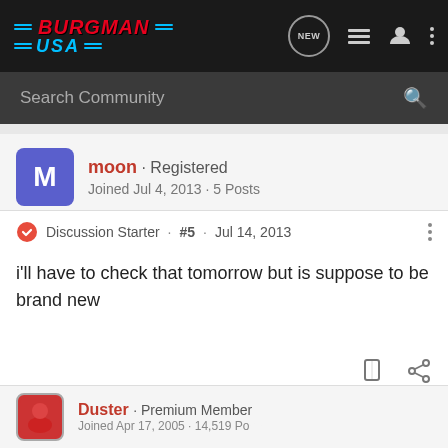Burgman USA - forum header with navigation icons and search bar
moon · Registered
Joined Jul 4, 2013 · 5 Posts
Discussion Starter · #5 · Jul 14, 2013
i'll have to check that tomorrow but is suppose to be brand new
Duster · Premium Member